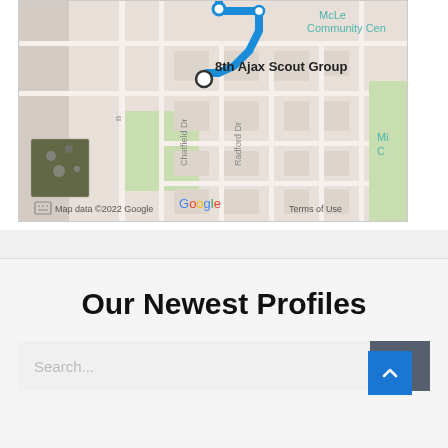[Figure (map): Google Maps screenshot showing a route with a blue path near 8th Ajax Scout Group, with streets Chatfield Dr and Radford Dr visible, McLe Community Cen label in top right, Mi C label on right, and a satellite thumbnail in bottom left. Map data ©2022 Google, Terms of Use shown at bottom.]
Our Newest Profiles
[Figure (screenshot): Search bar with placeholder text 'Search...' and a dark gray search button with magnifying glass icon, plus a blue back-to-top arrow button.]